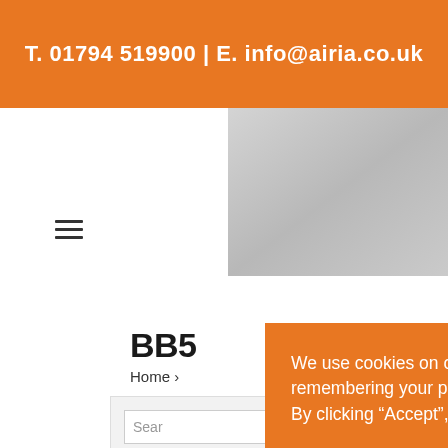T. 01794 519900 | E. info@airia.co.uk
[Figure (screenshot): Website navigation area with hamburger menu icon on left and grey gradient image placeholder on right]
BB5
Home >
Search
Sele
We use cookies on our website to give you the most relevant experience by remembering your preferences and repeat visits. You can view our cookie policy here. By clicking “Accept”, you consent to the use of ALL the cookies.
Cookie settings
ACCEPT